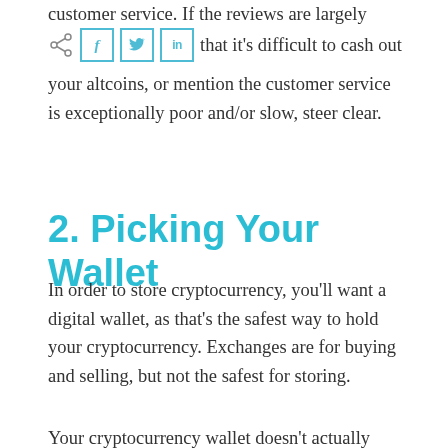customer service. If the reviews are largely negative, mention that it's difficult to cash out your altcoins, or mention the customer service is exceptionally poor and/or slow, steer clear.
[Figure (other): Social share buttons: share icon, Facebook (f), Twitter (bird icon), LinkedIn (in)]
2. Picking Your Wallet
In order to store cryptocurrency, you'll want a digital wallet, as that's the safest way to hold your cryptocurrency. Exchanges are for buying and selling, but not the safest for storing.
Your cryptocurrency wallet doesn't actually